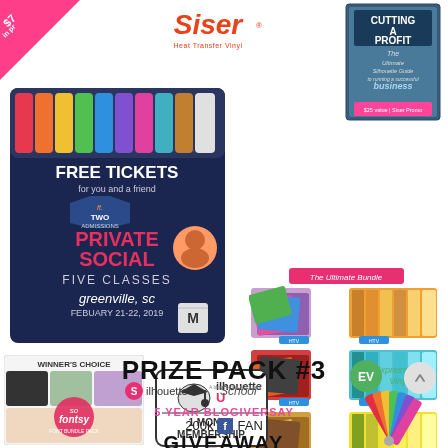[Figure (infographic): Pink diagonal corner banner with dollar sign and 'in pr...' text]
[Figure (logo): Siser Heat Transfer Vinyl logo in red/orange]
[Figure (photo): Cutting A Profit book cover - The Ultimate Silhouette Guide to running a successful business]
[Figure (photo): Free Tickets for you and a friend - Two Admissions Private Social Five Classes, Greenville SC, February 21-22 2019]
[Figure (illustration): The Ultimate Bundle - vinyl swatches and color fan decks in rows]
[Figure (illustration): Winner's Choice / So Fontsy font subscription]
[Figure (logo): Silhouette U - 1 Month Membership badge]
[Figure (logo): Expressions Vinyl logo with vinyl color fan]
PRIZE PACK #3
[Figure (logo): Silhouette School logo]
5 YEAR BLOGIVERSAY
200k Facebook FAN
GIVEAWAY